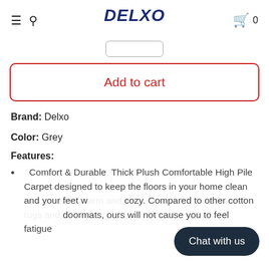DELXO  0
Add to cart
Brand: Delxo
Color: Grey
Features:
Comfort & Durable  Thick Plush Comfortable High Pile Carpet designed to keep the floors in your home clean and your feet warm and cozy. Compared to other cotton doormats, ours will not cause you to feel fatigue after standing.